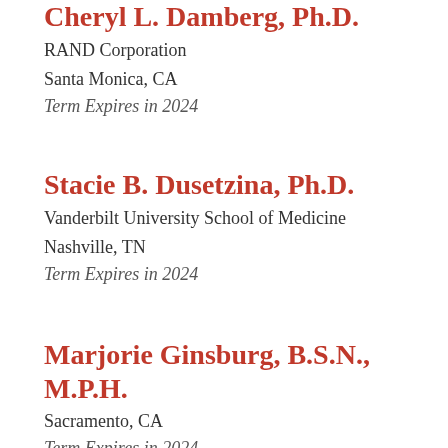Cheryl L. Damberg, Ph.D.
RAND Corporation
Santa Monica, CA
Term Expires in 2024
Stacie B. Dusetzina, Ph.D.
Vanderbilt University School of Medicine
Nashville, TN
Term Expires in 2024
Marjorie Ginsburg, B.S.N., M.P.H.
Sacramento, CA
Term Expires in 2024